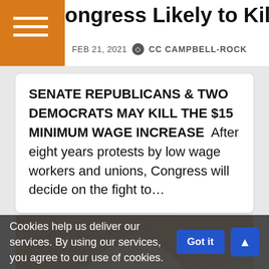Congress Likely to Kill Fight for 15
FEB 21, 2021   CC CAMPBELL-ROCK
SENATE REPUBLICANS & TWO DEMOCRATS MAY KILL THE $15 MINIMUM WAGE INCREASE   After eight years protests by low wage workers and unions, Congress will decide on the fight to…
[Figure (photo): Close-up photograph of an elderly white-haired man against a warm brown/orange background]
Cookies help us deliver our services. By using our services, you agree to our use of cookies.